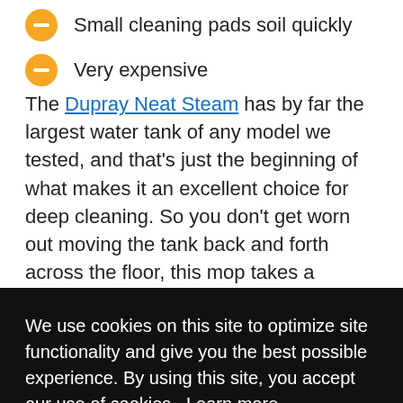Small cleaning pads soil quickly
Very expensive
The Dupray Neat Steam has by far the largest water tank of any model we tested, and that's just the beginning of what makes it an excellent choice for deep cleaning. So you don't get worn out moving the tank back and forth across the floor, this mop takes a unique approach, putting the water tank on wheels and letting it follow you around while you scrub. Not [partially obscured] g [partially obscured] e as [partially obscured] ssories [partially obscured] our [partially obscured] han any other model. While most mops are ready to steam in
We use cookies on this site to optimize site functionality and give you the best possible experience. By using this site, you accept our use of cookies. Learn more
Got it!